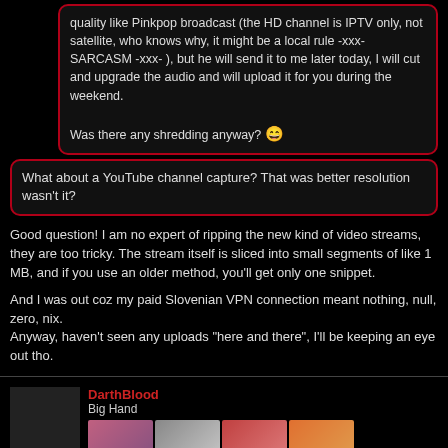quality like Pinkpop broadcast (the HD channel is IPTV only, not satellite, who knows why, it might be a local rule -xxx- SARCASM -xxx- ), but he will send it to me later today, I will cut and upgrade the audio and will upload it for you during the weekend.

Was there any shredding anyway? 😄
What about a YouTube channel capture? That was better resolution wasn't it?
Good question! I am no expert of ripping the new kind of video streams, they are too tricky. The stream itself is sliced into small segments of like 1 MB, and if you use an older method, you'll get only one snippet.

And I was out coz my paid Slovenian VPN connection meant nothing, null, zero, nix.
Anyway, haven't seen any uploads "here and there", I'll be keeping an eye out tho.
DarthBlood
Big Hand